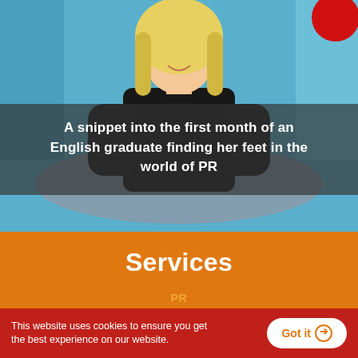[Figure (photo): Photo of a smiling blonde woman in a black top seated at a desk in an office with blue upholstered furniture. A red circular logo is partially visible in the top right corner.]
A snippet into the first month of an English graduate finding her feet in the world of PR
Services
PR
This website uses cookies to ensure you get the best experience on our website.